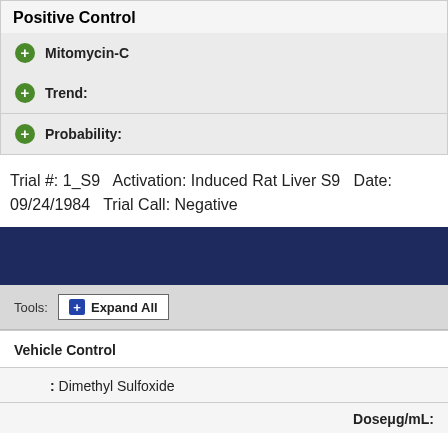Positive Control
Mitomycin-C
Trend:
Probability:
Trial #: 1_S9   Activation: Induced Rat Liver S9   Date: 09/24/1984   Trial Call: Negative
Tools:  Expand All
Vehicle Control
: Dimethyl Sulfoxide
Doseμg/mL: